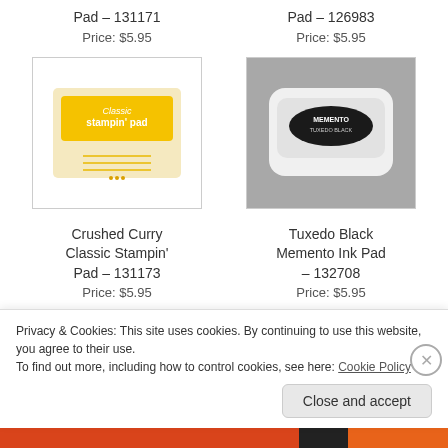Pad – 131171
Pad – 126983
Price: $5.95
Price: $5.95
[Figure (photo): Crushed Curry Classic Stampin' Pad - yellow ink pad]
[Figure (photo): Tuxedo Black Memento Ink Pad - black ink pad on grey background]
Crushed Curry Classic Stampin' Pad – 131173
Tuxedo Black Memento Ink Pad – 132708
Price: $5.95
Price: $5.95
Privacy & Cookies: This site uses cookies. By continuing to use this website, you agree to their use.
To find out more, including how to control cookies, see here: Cookie Policy
Close and accept